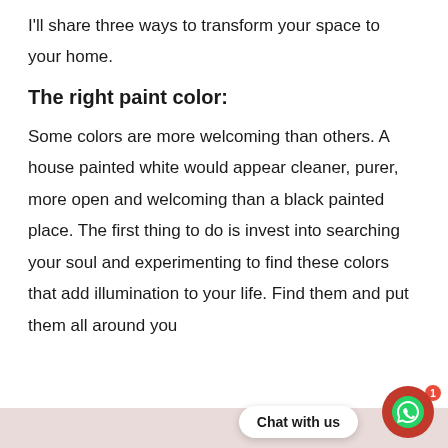I'll share three ways to transform your space to your home.
The right paint color:
Some colors are more welcoming than others. A house painted white would appear cleaner, purer, more open and welcoming than a black painted place. The first thing to do is invest into searching your soul and experimenting to find these colors that add illumination to your life. Find them and put them all around you